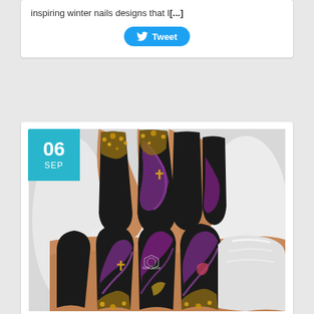inspiring winter nails designs that I[...]
[Figure (other): Twitter Tweet button with bird icon]
[Figure (photo): Close-up photo of black matte nail art with purple marble designs and gold glitter embellishments on a white fur background. Date badge shows 06 SEP in teal/blue.]